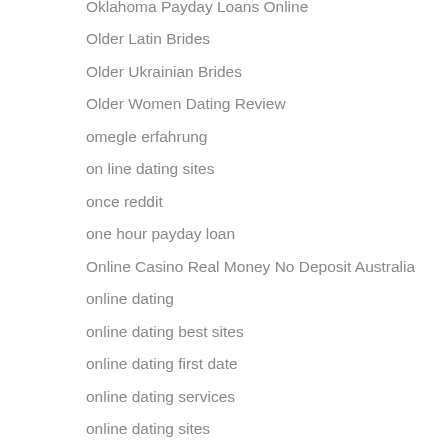Oklahoma Payday Loans Online
Older Latin Brides
Older Ukrainian Brides
Older Women Dating Review
omegle erfahrung
on line dating sites
once reddit
one hour payday loan
Online Casino Real Money No Deposit Australia
online dating
online dating best sites
online dating first date
online dating services
online dating sites
online dating sites for free